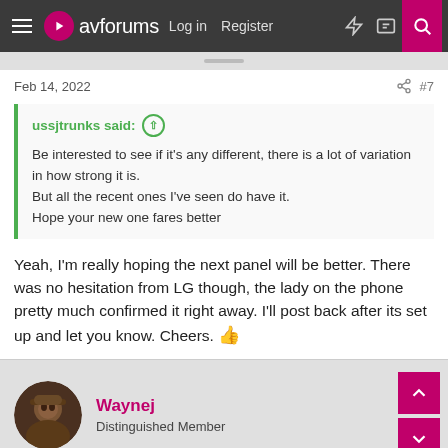avforums | Log in | Register
Feb 14, 2022  #7
ussjtrunks said: ↑
Be interested to see if it's any different, there is a lot of variation in how strong it is.
But all the recent ones I've seen do have it.
Hope your new one fares better
Yeah, I'm really hoping the next panel will be better. There was no hesitation from LG though, the lady on the phone pretty much confirmed it right away. I'll post back after its set up and let you know. Cheers. 👍
Waynej
Distinguished Member
Feb 15, 2022  #8